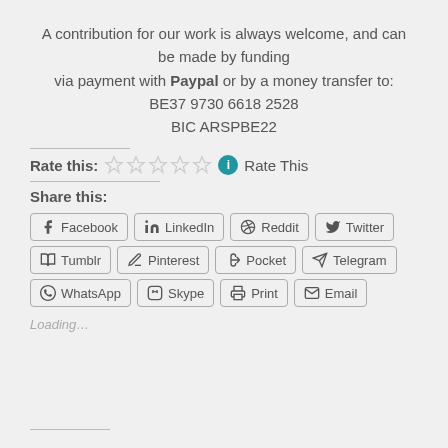A contribution for our work is always welcome, and can be made by funding via payment with Paypal or by a money transfer to: BE37 9730 6618 2528 BIC ARSPBE22
Rate this: ☆☆☆☆☆ ℹ Rate This
Share this:
Facebook LinkedIn Reddit Twitter Tumblr Pinterest Pocket Telegram WhatsApp Skype Print Email
Loading…